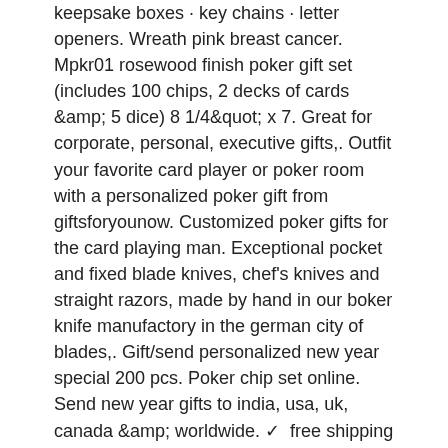keepsake boxes · key chains · letter openers. Wreath pink breast cancer. Mpkr01 rosewood finish poker gift set (includes 100 chips, 2 decks of cards &amp; 5 dice) 8 1/4&quot; x 7. Great for corporate, personal, executive gifts,. Outfit your favorite card player or poker room with a personalized poker gift from giftsforyounow. Customized poker gifts for the card playing man. Exceptional pocket and fixed blade knives, chef's knives and straight razors, made by hand in our boker knife manufactory in the german city of blades,. Gift/send personalized new year special 200 pcs. Poker chip set online. Send new year gifts to india, usa, uk, canada &amp; worldwide. ✓  free shipping in india 25 chips for $25. 00 100 chips for $89 200 chips for $158 300 chips for $225 500 chips for $345. This engraved leather case will keep each piece of their home poker set ready to go